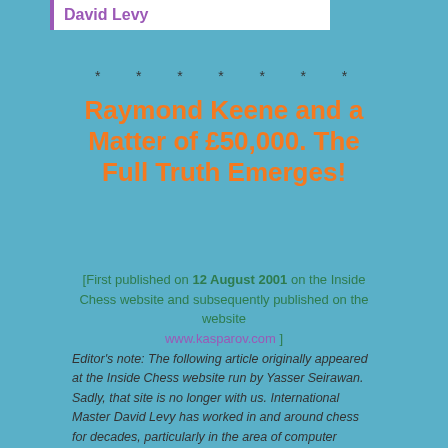David Levy
* * * * * * *
Raymond Keene and a Matter of £50,000. The Full Truth Emerges!
[First published on 12 August 2001 on the Inside Chess website and subsequently published on the website www.kasparov.com ]
Editor's note: The following article originally appeared at the Inside Chess website run by Yasser Seirawan. Sadly, that site is no longer with us. International Master David Levy has worked in and around chess for decades, particularly in the area of computer chess. Raymond Keene is an English Grandmaster, organizer, and a director of